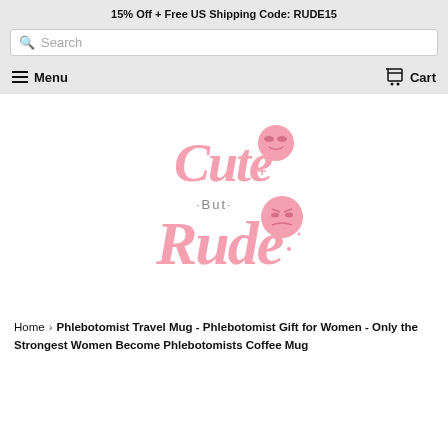15% Off + Free US Shipping Code: RUDE15
[Figure (logo): Cute But Rude brand logo in pink script font with kawaii emoji faces]
Home › Phlebotomist Travel Mug - Phlebotomist Gift for Women - Only the Strongest Women Become Phlebotomists Coffee Mug